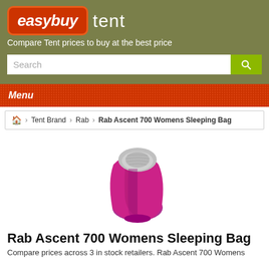[Figure (logo): easybuy tent logo with orange rounded rectangle for 'easybuy' and white text 'tent' on olive/khaki background]
Compare Tent prices to buy at the best price
Search
Menu
🏠 > Tent Brand > Rab > Rab Ascent 700 Womens Sleeping Bag
[Figure (photo): Rab Ascent 700 Womens Sleeping Bag in purple/magenta color with grey interior lining, mummy style sleeping bag shown from above]
Rab Ascent 700 Womens Sleeping Bag
Compare prices across 3 in stock retailers. Rab Ascent 700 Womens